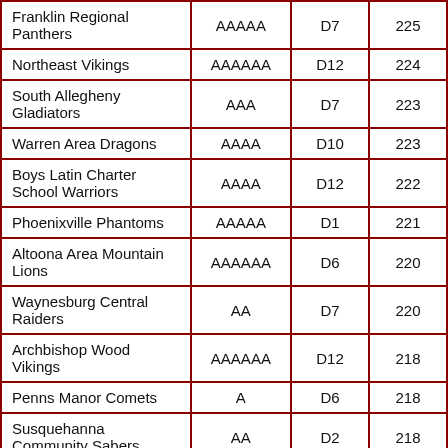| Franklin Regional Panthers | AAAAA | D7 | 225 |
| Northeast Vikings | AAAAAA | D12 | 224 |
| South Allegheny Gladiators | AAA | D7 | 223 |
| Warren Area Dragons | AAAA | D10 | 223 |
| Boys Latin Charter School Warriors | AAAA | D12 | 222 |
| Phoenixville Phantoms | AAAAA | D1 | 221 |
| Altoona Area Mountain Lions | AAAAAA | D6 | 220 |
| Waynesburg Central Raiders | AA | D7 | 220 |
| Archbishop Wood Vikings | AAAAAA | D12 | 218 |
| Penns Manor Comets | A | D6 | 218 |
| Susquehanna Community Sabers | AA | D2 | 218 |
| Cowanesque Valley Indians | AAA | D4 | 217 |